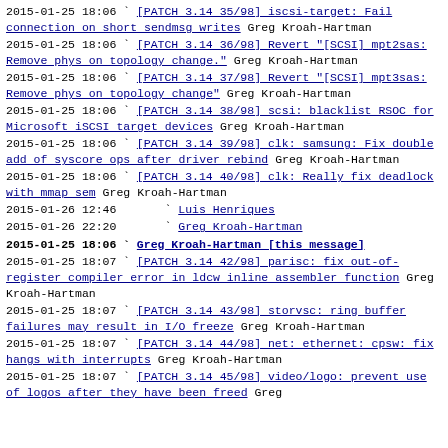2015-01-25 18:06 ` [PATCH 3.14 35/98] iscsi-target: Fail connection on short sendmsg writes Greg Kroah-Hartman
2015-01-25 18:06 ` [PATCH 3.14 36/98] Revert "[SCSI] mpt2sas: Remove phys on topology change." Greg Kroah-Hartman
2015-01-25 18:06 ` [PATCH 3.14 37/98] Revert "[SCSI] mpt3sas: Remove phys on topology change" Greg Kroah-Hartman
2015-01-25 18:06 ` [PATCH 3.14 38/98] scsi: blacklist RSOC for Microsoft iSCSI target devices Greg Kroah-Hartman
2015-01-25 18:06 ` [PATCH 3.14 39/98] clk: samsung: Fix double add of syscore ops after driver rebind Greg Kroah-Hartman
2015-01-25 18:06 ` [PATCH 3.14 40/98] clk: Really fix deadlock with mmap sem Greg Kroah-Hartman
2015-01-26 12:46 ` Luis Henriques
2015-01-26 22:20 ` Greg Kroah-Hartman
2015-01-25 18:06 ` Greg Kroah-Hartman [this message]
2015-01-25 18:07 ` [PATCH 3.14 42/98] parisc: fix out-of-register compiler error in ldcw inline assembler function Greg Kroah-Hartman
2015-01-25 18:07 ` [PATCH 3.14 43/98] storvsc: ring buffer failures may result in I/O freeze Greg Kroah-Hartman
2015-01-25 18:07 ` [PATCH 3.14 44/98] net: ethernet: cpsw: fix hangs with interrupts Greg Kroah-Hartman
2015-01-25 18:07 ` [PATCH 3.14 45/98] video/logo: prevent use of logos after they have been freed Greg